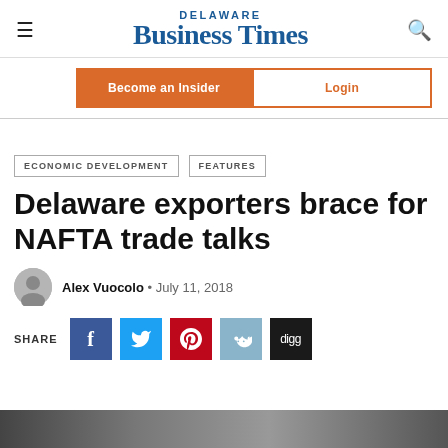Delaware Business Times
Become an Insider | Login
ECONOMIC DEVELOPMENT  FEATURES
Delaware exporters brace for NAFTA trade talks
Alex Vuocolo • July 11, 2018
SHARE
[Figure (photo): Bottom image strip, partial photo of article content]